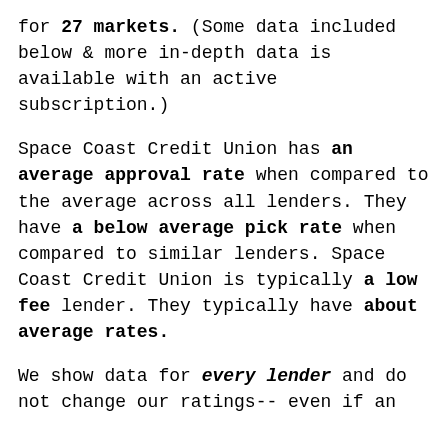for 27 markets. (Some data included below & more in-depth data is available with an active subscription.)
Space Coast Credit Union has an average approval rate when compared to the average across all lenders. They have a below average pick rate when compared to similar lenders. Space Coast Credit Union is typically a low fee lender. They typically have about average rates.
We show data for every lender and do not change our ratings-- even if an